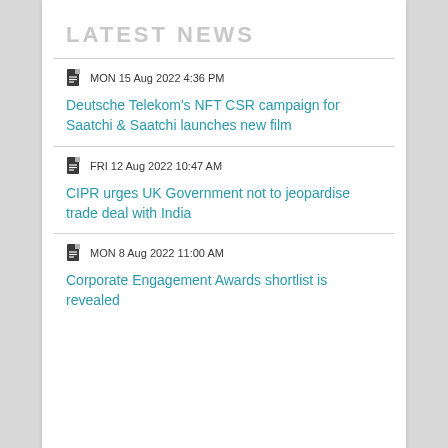LATEST NEWS
MON 15 Aug 2022 4:36 PM — Deutsche Telekom's NFT CSR campaign for Saatchi & Saatchi launches new film
FRI 12 Aug 2022 10:47 AM — CIPR urges UK Government not to jeopardise trade deal with India
MON 8 Aug 2022 11:00 AM — Corporate Engagement Awards shortlist is revealed